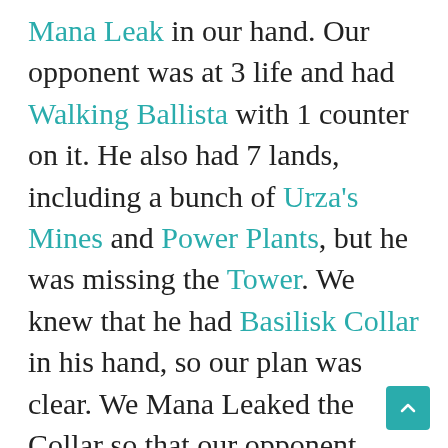Mana Leak in our hand. Our opponent was at 3 life and had Walking Ballista with 1 counter on it. He also had 7 lands, including a bunch of Urza's Mines and Power Plants, but he was missing the Tower. We knew that he had Basilisk Collar in his hand, so our plan was clear. We Mana Leaked the Collar so that our opponent didn't have enough mana to equip and add a counter. We could then play another land and attack with 2 Colonnades—he could shoot one but he would still take 4. Unfortunately, he drew